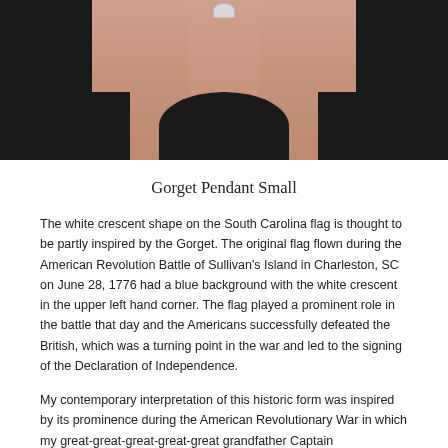[Figure (photo): Close-up photo of a person wearing a black tank top with a small white crescent-shaped gorget pendant necklace at the neckline, showing the neck and upper chest area against a skin-toned background.]
Gorget Pendant Small
The white crescent shape on the South Carolina flag is thought to be partly inspired by the Gorget. The original flag flown during the American Revolution Battle of Sullivan's Island in Charleston, SC on June 28, 1776 had a blue background with the white crescent in the upper left hand corner. The flag played a prominent role in the battle that day and the Americans successfully defeated the British, which was a turning point in the war and led to the signing of the Declaration of Independence.
My contemporary interpretation of this historic form was inspired by its prominence during the American Revolutionary War in which my great-great-great-great-great grandfather Captain